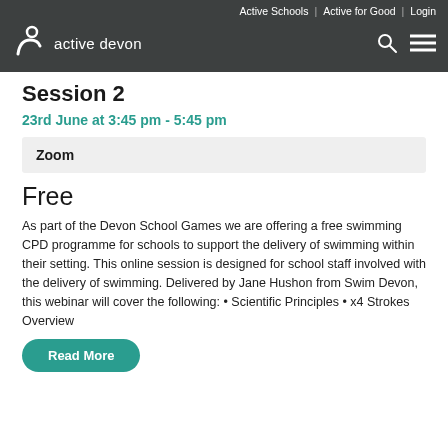Active Schools | Active for Good | Login
[Figure (logo): Active Devon logo with stylized '3' icon and text 'active devon' on dark background]
Session 2
23rd June at 3:45 pm - 5:45 pm
Zoom
Free
As part of the Devon School Games we are offering a free swimming CPD programme for schools to support the delivery of swimming within their setting. This online session is designed for school staff involved with the delivery of swimming. Delivered by Jane Hushon from Swim Devon, this webinar will cover the following: • Scientific Principles • x4 Strokes Overview
Read More